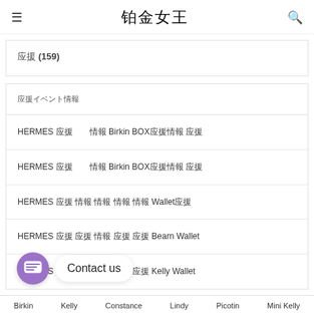铂金女王
应援 (159)
응援이벤트정보
HERMES 에르메스　이벤트 Birkin BOX에르메스 이벤트
HERMES 에르메스　이벤트 Birkin BOX에르메스 이벤
HERMES 에르메스 이벤트 이벤트 이벤트 Wallet이벤
HERMES 에르메스 이벤 이벤트 이벤 Bearn Wallet
HERMES 에르메스 이벤트 이벤트 이벤 Kelly Wallet
Birkin  Kelly  Constance  Lindy  Picotin  Mini Kelly